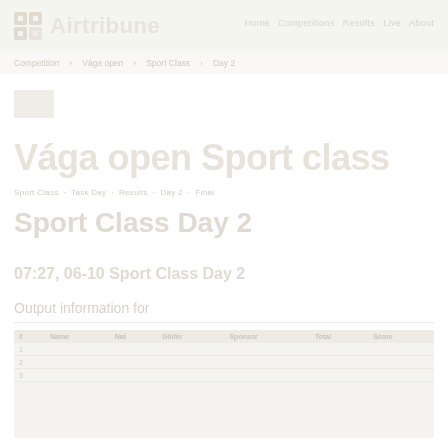Airtribune
Vága open Sport class
Sport Class Day 2
07:27, 06-10 Sport Class Day 2
Output information for
| # | Name | Nat | Glider | Sponsor | Score |
| --- | --- | --- | --- | --- | --- |
| 1 |  |  |  |  |  |
| 2 |  |  |  |  |  |
| 3 |  |  |  |  |  |